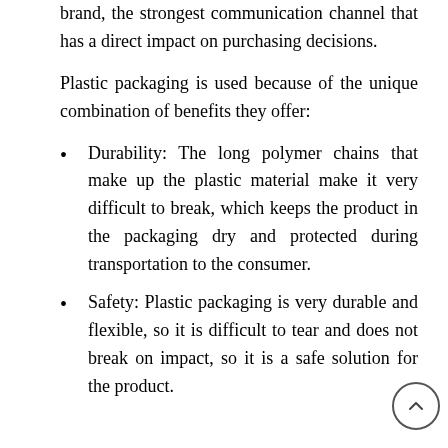brand, the strongest communication channel that has a direct impact on purchasing decisions.
Plastic packaging is used because of the unique combination of benefits they offer:
Durability: The long polymer chains that make up the plastic material make it very difficult to break, which keeps the product in the packaging dry and protected during transportation to the consumer.
Safety: Plastic packaging is very durable and flexible, so it is difficult to tear and does not break on impact, so it is a safe solution for the product.